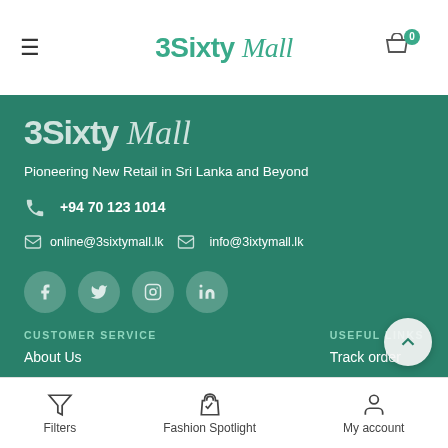3Sixty Mall — navigation header with hamburger menu and cart icon (badge: 0)
[Figure (logo): 3Sixty Mall logo in green teal section — large white text]
Pioneering New Retail in Sri Lanka and Beyond
+94 70 123 1014
online@3sixtymall.lk   info@3ixtymall.lk
[Figure (illustration): Social media icons: Facebook, Twitter, Instagram, LinkedIn — circular grey-tinted buttons]
CUSTOMER SERVICE
USEFUL LINKS
About Us
Track order
Filters | Fashion Spotlight | My account